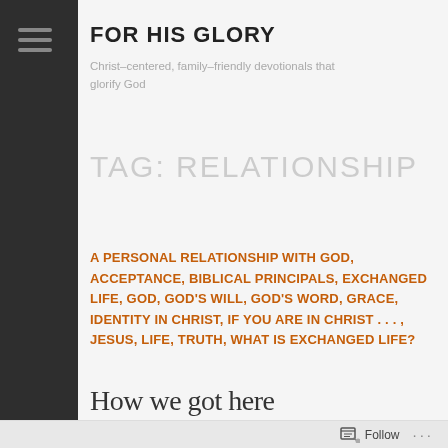FOR HIS GLORY
Christ-centered, family-friendly devotionals that glorify God
TAG: RELATIONSHIP
A PERSONAL RELATIONSHIP WITH GOD, ACCEPTANCE, BIBLICAL PRINCIPALS, EXCHANGED LIFE, GOD, GOD'S WILL, GOD'S WORD, GRACE, IDENTITY IN CHRIST, IF YOU ARE IN CHRIST . . . , JESUS, LIFE, TRUTH, WHAT IS EXCHANGED LIFE?
How we got here
Follow ...